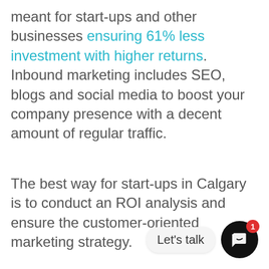meant for start-ups and other businesses ensuring 61% less investment with higher returns. Inbound marketing includes SEO, blogs and social media to boost your company presence with a decent amount of regular traffic.
The best way for start-ups in Calgary is to conduct an ROI analysis and ensure the customer-oriented marketing strategy.
[Figure (other): Chat widget with 'Let's talk' label and a black circular chat button with a red badge showing '1']